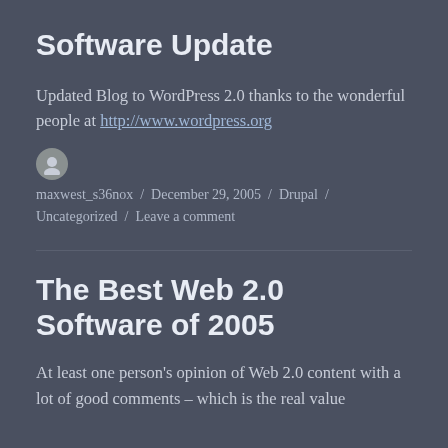Software Update
Updated Blog to WordPress 2.0 thanks to the wonderful people at http://www.wordpress.org
maxwest_s36nox / December 29, 2005 / Drupal / Uncategorized / Leave a comment
The Best Web 2.0 Software of 2005
At least one person's opinion of Web 2.0 content with a lot of good comments – which is the real value